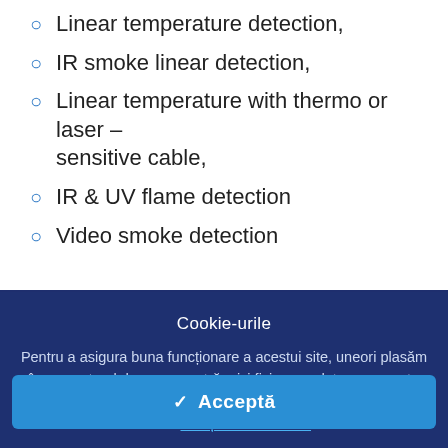Linear temperature detection,
IR smoke linear detection,
Linear temperature with thermo or laser – sensitive cable,
IR & UV flame detection
Video smoke detection
Cookie-urile
Pentru a asigura buna funcționare a acestui site, uneori plasăm în computerul dumneavoastră mici fișiere cu date, cunoscute sub numele de cookie-uri. Majoritatea site-urilor mari fac acest lucru.  Citește mai mult →
✓  Acceptă
for the work performance, directly on the www.helinick.ro